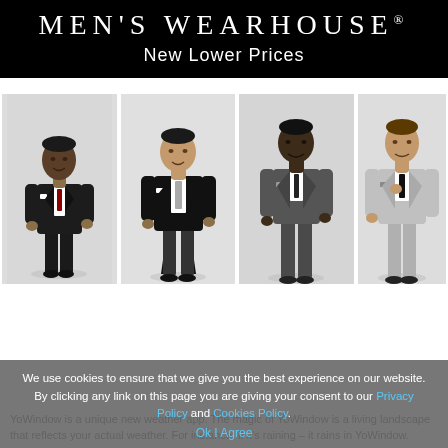[Figure (logo): Men's Wearhouse advertisement banner with logo text and 'New Lower Prices' on black background]
[Figure (photo): Four male models wearing suits and formal wear from Men's Wearhouse: first in dark suit with red tie, second in black tailcoat with grey tie, third in charcoal suit with dark tie, fourth in light grey suit with black tie]
We use cookies to ensure that we give you the best experience on our website. By clicking any link on this page you are giving your consent to our Privacy Policy and Cookies Policy. Ok I Agree
YoWindow is a unique new weather app. The magic of YoWindow is a living landscape that reflects your actual weather. For instance, if it's raining – it rains in YoWindow.